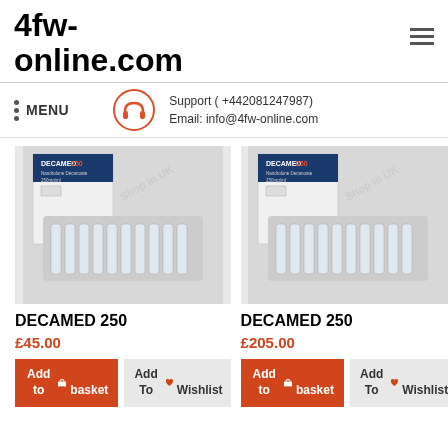4fw-online.com
MENU
Support ( +442081247987)
Email: info@4fw-online.com
[Figure (photo): Product photo of DECAMED 250 (Nandrolone Decanoate 250mg/ml) ampoules in blister pack with box]
DECAMED 250
£45.00
Add to basket
Add To Wishlist
[Figure (photo): Product photo of DECAMED 250 (Nandrolone Decanoate 250mg/ml) ampoules in blister pack with box]
DECAMED 250
£205.00
Add to basket
Add To Wishlist